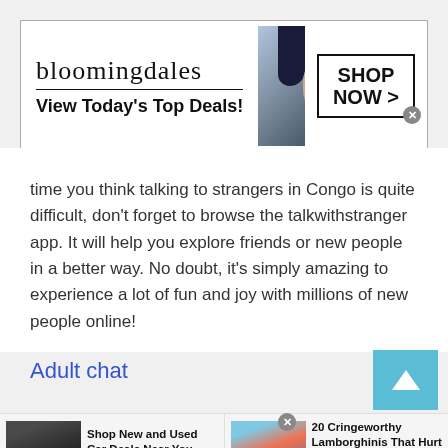[Figure (other): Bloomingdale's advertisement banner with logo, tagline 'View Today's Top Deals!', model wearing hat, and 'SHOP NOW >' button.]
time you think talking to strangers in Congo is quite difficult, don't forget to browse the talkwithstranger app. It will help you explore friends or new people in a better way. No doubt, it's simply amazing to experience a lot of fun and joy with millions of new people online!
Adult chat
[Figure (other): Scroll to top button - teal/cyan square with upward chevron arrow.]
[Figure (other): Bottom advertisement bar with two ads: 'Shop New and Used Car Deals Near You' by Car Deals Near You (showing SUV image), and '20 Cringeworthy Lamborghinis That Hurt Our Eyes and Brains!' by RilyNews (showing colorful sports car image).]